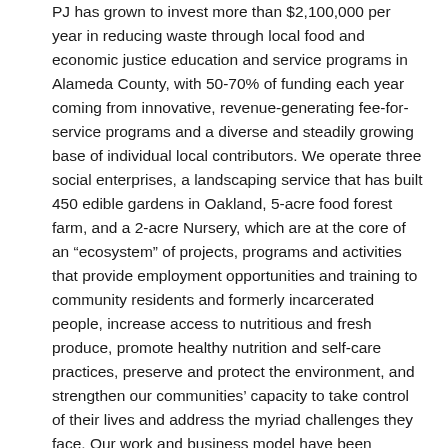PJ has grown to invest more than $2,100,000 per year in reducing waste through local food and economic justice education and service programs in Alameda County, with 50-70% of funding each year coming from innovative, revenue-generating fee-for-service programs and a diverse and steadily growing base of individual local contributors. We operate three social enterprises, a landscaping service that has built 450 edible gardens in Oakland, 5-acre food forest farm, and a 2-acre Nursery, which are at the core of an “ecosystem” of projects, programs and activities that provide employment opportunities and training to community residents and formerly incarcerated people, increase access to nutritious and fresh produce, promote healthy nutrition and self-care practices, preserve and protect the environment, and strengthen our communities’ capacity to take control of their lives and address the myriad challenges they face. Our work and business model have been recognized at a regional and national level, as evidenced by an article published in the Business Section of the New York Times: https://www.nytimes.com/2018/05/17/business/urban-farming-exconvicts-recidivism.html